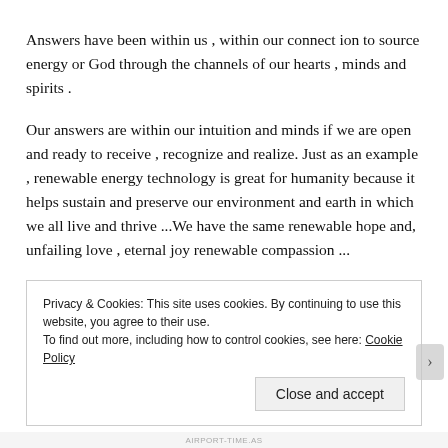Answers have been within us , within our connect ion to source energy or God through the channels of our hearts , minds and spirits .
Our answers are within our intuition and minds if we are open and ready to receive , recognize and realize. Just as an example , renewable energy technology is great for humanity because it helps sustain and preserve our environment and earth in which we all live and thrive ...We have the same renewable hope and, unfailing love , eternal joy renewable compassion ...
Privacy & Cookies: This site uses cookies. By continuing to use this website, you agree to their use.
To find out more, including how to control cookies, see here: Cookie Policy
Close and accept
AIRPORT-TIME.AS